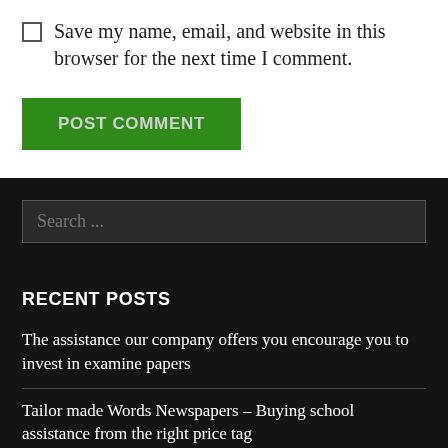Save my name, email, and website in this browser for the next time I comment.
POST COMMENT
Search ...
RECENT POSTS
The assistance our company offers you encourage you to invest in examine papers
Tailor made Words Newspapers – Buying school assistance from the right price tag